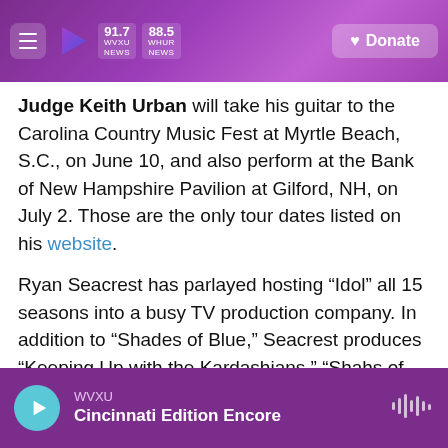91.7 WVXU NEWS | 88.5 WHUR NEWS | Donate
Judge Keith Urban will take his guitar to the Carolina Country Music Fest at Myrtle Beach, S.C., on June 10, and also perform at the Bank of New Hampshire Pavilion at Gilford, NH, on July 2. Those are the only tour dates listed on his website.
Ryan Seacrest has parlayed hosting “Idol” all 15 seasons into a busy TV production company. In addition to “Shades of Blue,” Seacrest produces “Keeping Up with the Kardashians,” “Shahs of Sunset,” “Knock Knock Live,” “E! Live from the Red Carpet” specials and those “Dick Clark’s Primetime New Year’s Rockin’ Eve” shows on ABC.
WVXU | Cincinnati Edition Encore